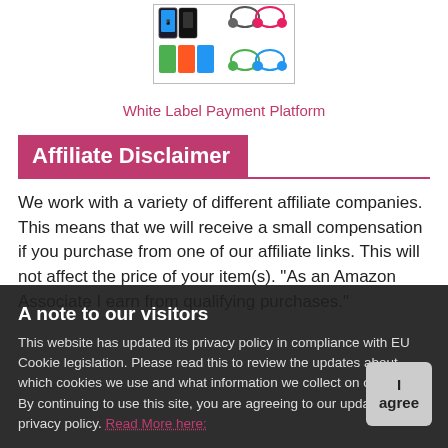[Figure (photo): Product image showing phone cases and colorful headphones]
White Label Payment Platform
Affiliate Disclaimer
We work with a variety of different affiliate companies. This means that we will receive a small compensation if you purchase from one of our affiliate links. This will not affect the price of your item(s). "As an Amazon Associate I earn from qualifying purchases."
A note to our visitors
This website has updated its privacy policy in compliance with EU Cookie legislation. Please read this to review the updates about which cookies we use and what information we collect on our site. By continuing to use this site, you are agreeing to our updated privacy policy. Read More here: